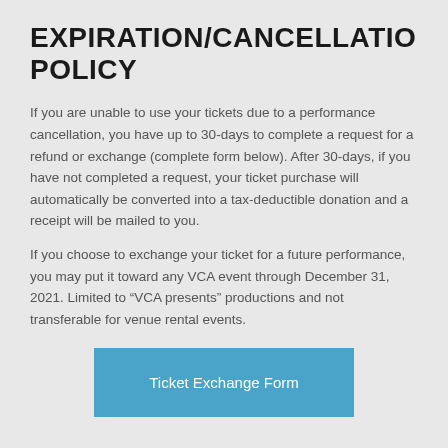EXPIRATION/CANCELLATION POLICY
If you are unable to use your tickets due to a performance cancellation, you have up to 30-days to complete a request for a refund or exchange (complete form below). After 30-days, if you have not completed a request, your ticket purchase will automatically be converted into a tax-deductible donation and a receipt will be mailed to you.
If you choose to exchange your ticket for a future performance, you may put it toward any VCA event through December 31, 2021. Limited to “VCA presents” productions and not transferable for venue rental events.
Ticket Exchange Form